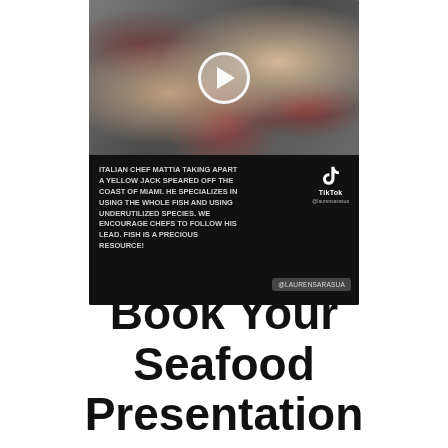[Figure (screenshot): TikTok video screenshot showing Italian chef Mattia taking apart a yellow jack fish speared off the coast of Miami. The top half shows a dark food preparation scene with a play button overlay. The bottom half has black background with white text describing the chef and a TikTok branding logo with handle @laurensarasua.]
Book Your Seafood Presentation